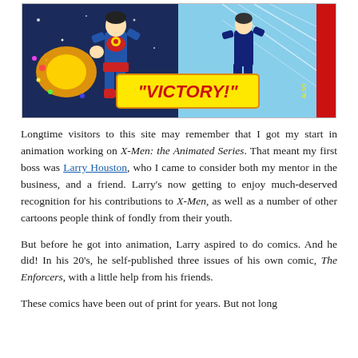[Figure (illustration): Comic book cover showing superhero characters in action. A yellow speech/caption box reads "VICTORY!" in red stylized lettering. On the right side, vertical text reads "ANDROMEDON THE LIVING STAR". Characters include a blue-suited superhero and other figures in dynamic poses against a space/action background.]
Longtime visitors to this site may remember that I got my start in animation working on X-Men: the Animated Series. That meant my first boss was Larry Houston, who I came to consider both my mentor in the business, and a friend. Larry's now getting to enjoy much-deserved recognition for his contributions to X-Men, as well as a number of other cartoons people think of fondly from their youth.
But before he got into animation, Larry aspired to do comics. And he did! In his 20's, he self-published three issues of his own comic, The Enforcers, with a little help from his friends.
These comics have been out of print for years. But not long